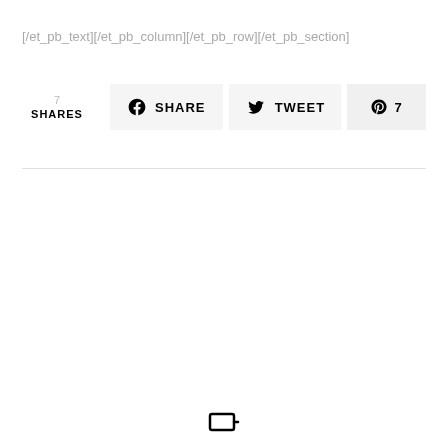[/et_pb_text][/et_pb_column][/et_pb_row][/et_pb_section]
7 SHARES  SHARE  TWEET  7